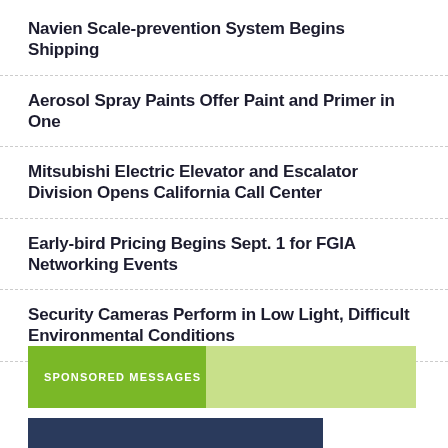Navien Scale-prevention System Begins Shipping
Aerosol Spray Paints Offer Paint and Primer in One
Mitsubishi Electric Elevator and Escalator Division Opens California Call Center
Early-bird Pricing Begins Sept. 1 for FGIA Networking Events
Security Cameras Perform in Low Light, Difficult Environmental Conditions
SPONSORED MESSAGES
[Figure (photo): Partial bottom image visible, dark blue background with red element]